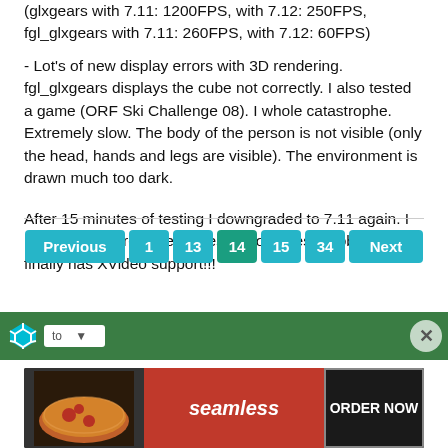(glxgears with 7.11: 1200FPS, with 7.12: 250FPS, fgl_glxgears with 7.11: 260FPS, with 7.12: 60FPS)
- Lot's of new display errors with 3D rendering. fgl_glxgears displays the cube not correctly. I also tested a game (ORF Ski Challenge 08). I whole catastrophe. Extremely slow. The body of the person is not visible (only the head, hands and legs are visible). The environment is drawn much too dark.
After 15 minutes of testing I downgraded to 7.11 again. I hope the 7.13 release comes without these problems and finally has XVideo support!!!
[Figure (infographic): Pagination bar with buttons: Previous, 1, 13, 14 (active/highlighted in teal), 15, 34, Next]
[Figure (infographic): Green ad bar with logo, dropdown, and close button]
[Figure (infographic): Seamless food delivery advertisement banner with pizza image, seamless logo, and ORDER NOW button]